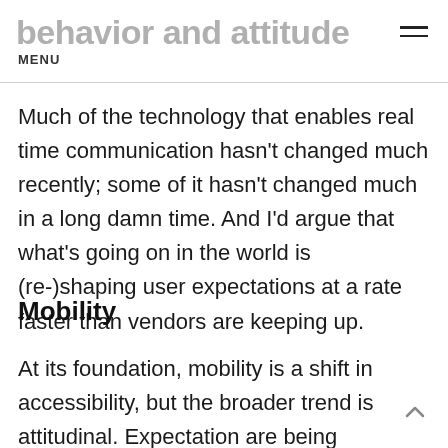behavior and attitude MENU
Much of the technology that enables real time communication hasn't changed much recently; some of it hasn't changed much in a long damn time. And I'd argue that what's going on in the world is (re-)shaping user expectations at a rate faster than vendors are keeping up.
Mobility
At its foundation, mobility is a shift in accessibility, but the broader trend is attitudinal. Expectation are being (re-)shaped that anything is possible